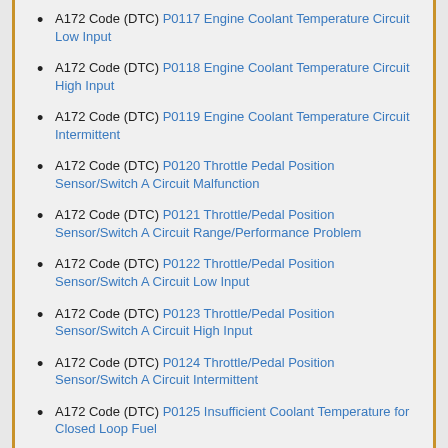A172 Code (DTC) P0117 Engine Coolant Temperature Circuit Low Input
A172 Code (DTC) P0118 Engine Coolant Temperature Circuit High Input
A172 Code (DTC) P0119 Engine Coolant Temperature Circuit Intermittent
A172 Code (DTC) P0120 Throttle Pedal Position Sensor/Switch A Circuit Malfunction
A172 Code (DTC) P0121 Throttle/Pedal Position Sensor/Switch A Circuit Range/Performance Problem
A172 Code (DTC) P0122 Throttle/Pedal Position Sensor/Switch A Circuit Low Input
A172 Code (DTC) P0123 Throttle/Pedal Position Sensor/Switch A Circuit High Input
A172 Code (DTC) P0124 Throttle/Pedal Position Sensor/Switch A Circuit Intermittent
A172 Code (DTC) P0125 Insufficient Coolant Temperature for Closed Loop Fuel